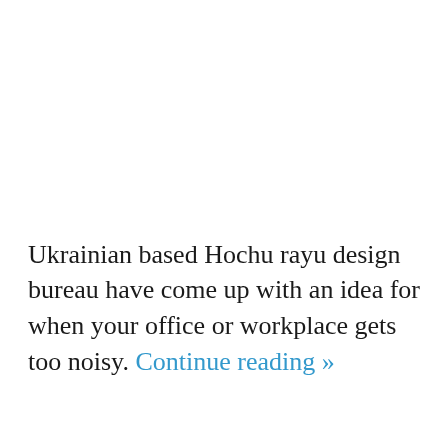Ukrainian based Hochu rayu design bureau have come up with an idea for when your office or workplace gets too noisy. Continue reading »